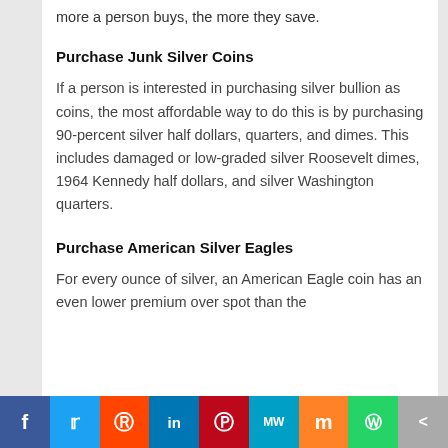more a person buys, the more they save.
Purchase Junk Silver Coins
If a person is interested in purchasing silver bullion as coins, the most affordable way to do this is by purchasing 90-percent silver half dollars, quarters, and dimes. This includes damaged or low-graded silver Roosevelt dimes, 1964 Kennedy half dollars, and silver Washington quarters.
Purchase American Silver Eagles
For every ounce of silver, an American Eagle coin has an even lower premium over spot than the